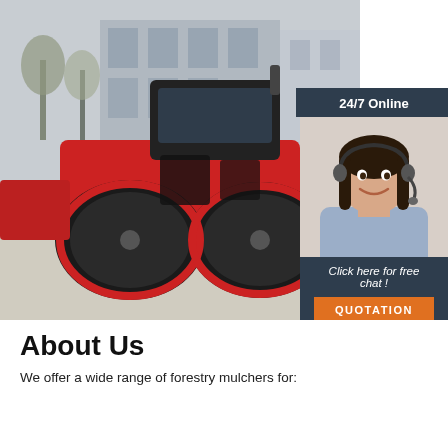[Figure (photo): Red road roller / compactor machine parked outdoors with trees and building in background. Large red drum rollers visible in foreground.]
[Figure (infographic): 24/7 Online chat widget panel with dark blue-grey background. Shows a smiling woman wearing a headset. Text reads '24/7 Online', 'Click here for free chat!' and an orange QUOTATION button.]
About Us
We offer a wide range of forestry mulchers for: